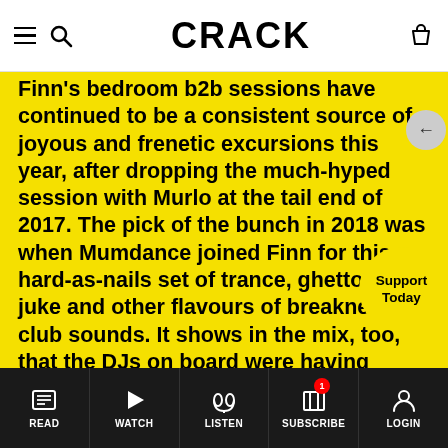CRACK
Finn's bedroom b2b sessions have continued to be a consistent source of joyous and frenetic excursions this year, after dropping the much-hyped session with Murlo at the tail end of 2017. The pick of the bunch in 2018 was when Mumdance joined Finn for this hard-as-nails set of trance, ghettotech, juke and other flavours of breakneck club sounds. It shows in the mix, too, that the DJs on board were having loads of fun. We'd recommend losing yourself to this one, then making your way through the rest of the series.
READ | WATCH | LISTEN | SUBSCRIBE | LOGIN